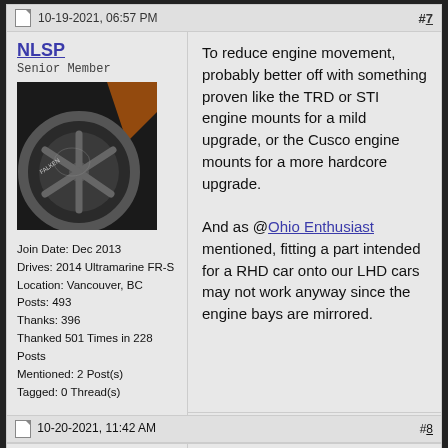10-19-2021, 06:57 PM  #7
NLSP
Senior Member
[Figure (photo): Profile avatar showing a close-up of a dark alloy wheel and performance tire]
Join Date: Dec 2013
Drives: 2014 Ultramarine FR-S
Location: Vancouver, BC
Posts: 493
Thanks: 396
Thanked 501 Times in 228 Posts
Mentioned: 2 Post(s)
Tagged: 0 Thread(s)
To reduce engine movement, probably better off with something proven like the TRD or STI engine mounts for a mild upgrade, or the Cusco engine mounts for a more hardcore upgrade.

And as @Ohio Enthusiast mentioned, fitting a part intended for a RHD car onto our LHD cars may not work anyway since the engine bays are mirrored.
10-20-2021, 11:42 AM  #8